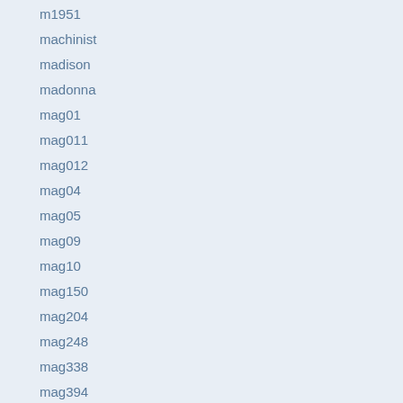m1951
machinist
madison
madonna
mag01
mag011
mag012
mag04
mag05
mag09
mag10
mag150
mag204
mag248
mag338
mag394